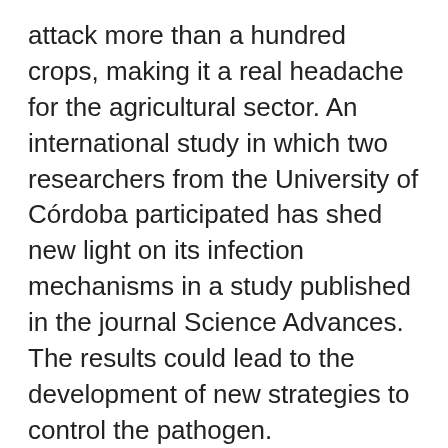attack more than a hundred crops, making it a real headache for the agricultural sector. An international study in which two researchers from the University of Córdoba participated has shed new light on its infection mechanisms in a study published in the journal Science Advances. The results could lead to the development of new strategies to control the pathogen.
The study, carried out in collaboration with the Federal Polytechnic Institute of Zurich and the University of Paris-Saclay, focused on what is known as cellulases, a set of enzymes that the fungus uses to degrade plants' cell walls. Specifically, the research team managed to mutate a gene of the